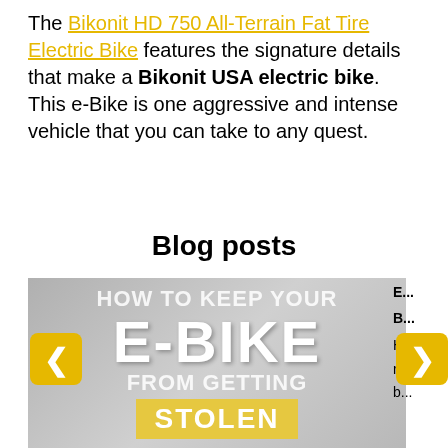The Bikonit HD 750 All-Terrain Fat Tire Electric Bike features the signature details that make a Bikonit USA electric bike. This e-Bike is one aggressive and intense vehicle that you can take to any quest.
Blog posts
[Figure (photo): Blog post carousel showing an image with text overlay reading 'HOW TO KEEP YOUR E-BIKE FROM GETTING STOLEN' with yellow navigation arrows on left and right sides. A partial second blog post is visible on the right edge.]